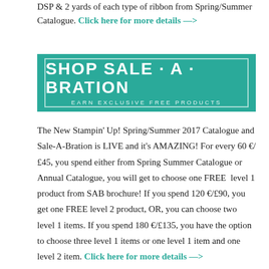DSP & 2 yards of each type of ribbon from Spring/Summer Catalogue. Click here for more details —>
[Figure (illustration): Teal/turquoise banner with white text reading 'SHOP SALE · A · BRATION' and subtitle 'EARN EXCLUSIVE FREE PRODUCTS', with a thin white border inset]
The New Stampin' Up! Spring/Summer 2017 Catalogue and Sale-A-Bration is LIVE and it's AMAZING! For every 60 €/£45, you spend either from Spring Summer Catalogue or Annual Catalogue, you will get to choose one FREE level 1 product from SAB brochure! If you spend 120 €/£90, you get one FREE level 2 product, OR, you can choose two level 1 items. If you spend 180 €/£135, you have the option to choose three level 1 items or one level 1 item and one level 2 item. Click here for more details —>